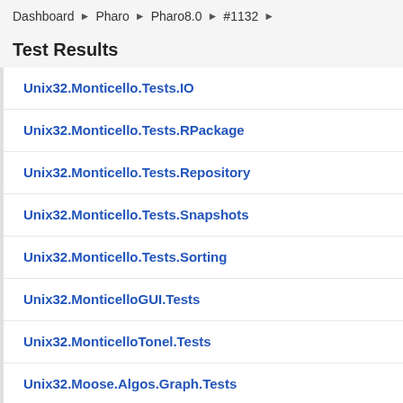Dashboard ▶ Pharo ▶ Pharo8.0 ▶ #1132 ▶
Test Results
Unix32.Monticello.Tests.IO
Unix32.Monticello.Tests.RPackage
Unix32.Monticello.Tests.Repository
Unix32.Monticello.Tests.Snapshots
Unix32.Monticello.Tests.Sorting
Unix32.MonticelloGUI.Tests
Unix32.MonticelloTonel.Tests
Unix32.Moose.Algos.Graph.Tests